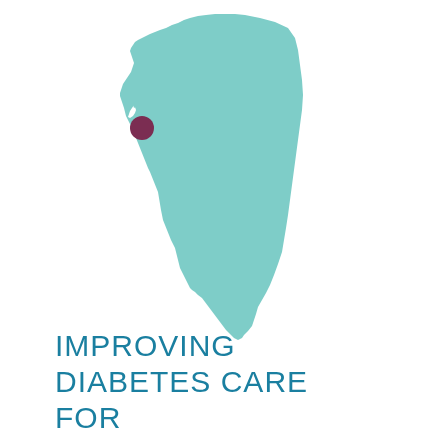[Figure (map): Silhouette map of the state of California in teal/light blue color, with a dark maroon/purple dot marker indicating a location in the San Francisco Bay Area region.]
IMPROVING DIABETES CARE FOR